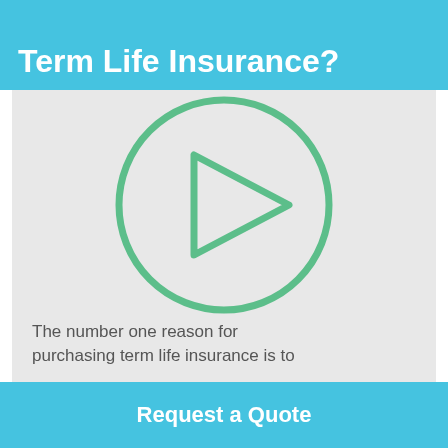Term Life Insurance?
[Figure (illustration): Video play button icon: a large green circle outline with a green triangle (play arrow) in the center, on a light gray background]
The number one reason for purchasing term life insurance is to
Request a Quote